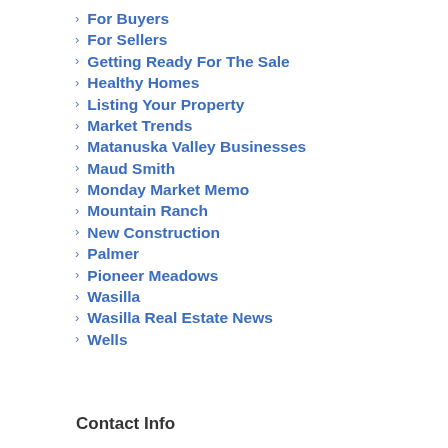For Buyers
For Sellers
Getting Ready For The Sale
Healthy Homes
Listing Your Property
Market Trends
Matanuska Valley Businesses
Maud Smith
Monday Market Memo
Mountain Ranch
New Construction
Palmer
Pioneer Meadows
Wasilla
Wasilla Real Estate News
Wells
Contact Info